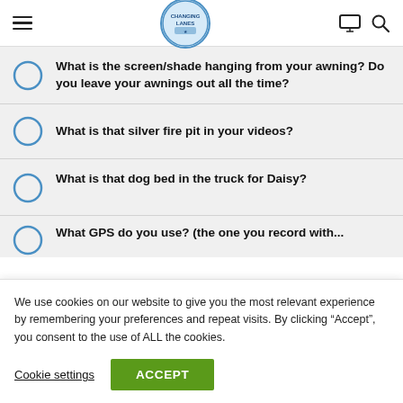Changing Lanes - navigation header with hamburger menu, logo, monitor icon, search icon
What is the screen/shade hanging from your awning? Do you leave your awnings out all the time?
What is that silver fire pit in your videos?
What is that dog bed in the truck for Daisy?
What GPS do you use? (truncated/partially visible)
We use cookies on our website to give you the most relevant experience by remembering your preferences and repeat visits. By clicking “Accept”, you consent to the use of ALL the cookies.
Cookie settings  ACCEPT